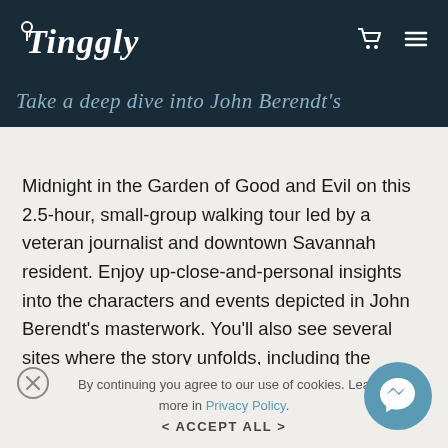Tinggly
Take a deep dive into John Berendt's
Midnight in the Garden of Good and Evil on this 2.5-hour, small-group walking tour led by a veteran journalist and downtown Savannah resident. Enjoy up-close-and-personal insights into the characters and events depicted in John Berendt's masterwork. You'll also see several sites where the story unfolds, including the Hamilton-Turner Inn, Clary's Cafe, and Mercer-Williams House; and a number of venues used in the movie.
By continuing you agree to our use of cookies. Learn more in Privacy Policy.
< ACCEPT ALL >